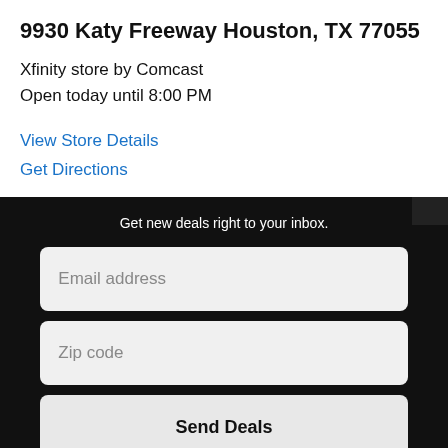9930 Katy Freeway Houston, TX 77055
Xfinity store by Comcast
Open today until 8:00 PM
View Store Details
Get Directions
Get new deals right to your inbox.
[Figure (screenshot): Email address input field (placeholder text: Email address)]
[Figure (screenshot): Zip code input field (placeholder text: Zip code)]
[Figure (screenshot): Send Deals button]
By entering your email address, you agree to receive marketing communications from Comcast via email.